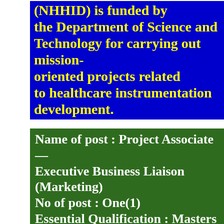(NHHID) is funded by the Department of Science and Technology for carrying out mission-oriented projects related to healthcare instrumentation development.
Name of post : Project Associate — Executive Business Liaison (Marketing)
No of post : One(1)
Essential Qualification : Masters in Business Administration (MBA) Above 60 % in U.G. & P.G. (Regular)
Desirable: Specialized in Marketing/Hospital Management is